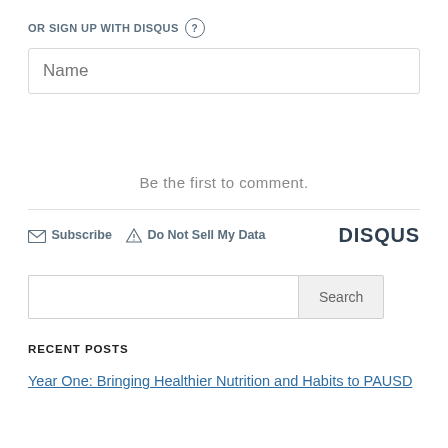OR SIGN UP WITH DISQUS ?
[Figure (screenshot): Name input text field with placeholder text 'Name']
Be the first to comment.
Subscribe  Do Not Sell My Data  DISQUS
[Figure (screenshot): Search input box with Search button]
RECENT POSTS
Year One: Bringing Healthier Nutrition and Habits to PAUSD